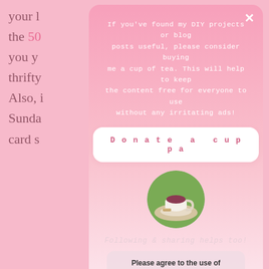your l…use the 50…l give you y…ND thrifty…?! Also, i…on Sunda…s card s…
[Figure (screenshot): Pink gradient modal overlay with donation request text, 'Donate a cuppa' button, circular tea cup photo, 'Following & sharing helps too!' italic text, and a cookie consent box with 'Accept' button and 'More info' link.]
If you've found my DIY projects or blog posts useful, please consider buying me a cup of tea. This will help to keep the content free for everyone to use without any irritating ads!
Donate a cuppa
Following & sharing helps too!
Please agree to the use of cookies to continue using this website. More info
Accept